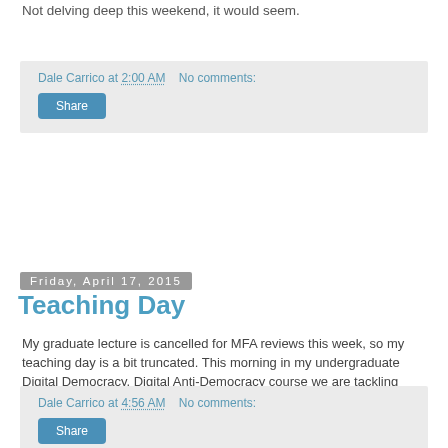Not delving deep this weekend, it would seem.
Dale Carrico at 2:00 AM   No comments:
Share
Friday, April 17, 2015
Teaching Day
My graduate lecture is cancelled for MFA reviews this week, so my teaching day is a bit truncated. This morning in my undergraduate Digital Democracy, Digital Anti-Democracy course we are tackling l'Affaire Snowden and flowing into homeland insecurity more generally. Faculty meeting and then the commute and then who can say?
Dale Carrico at 4:56 AM   No comments:
Share